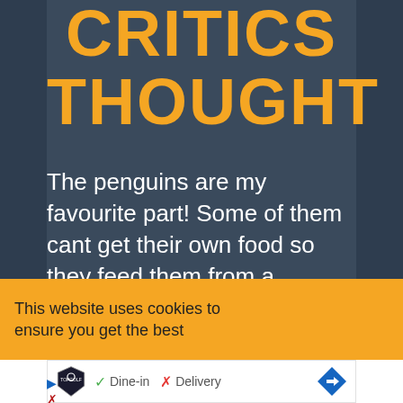CRITICS THOUGHT
The penguins are my favourite part! Some of them cant get their own food so they feed them from a bucket. Oh and the ride is good too. We went
This website uses cookies to ensure you get the best
[Figure (other): Topgolf advertisement showing logo with Dine-in checkmark and Delivery X mark, and a navigation arrow]